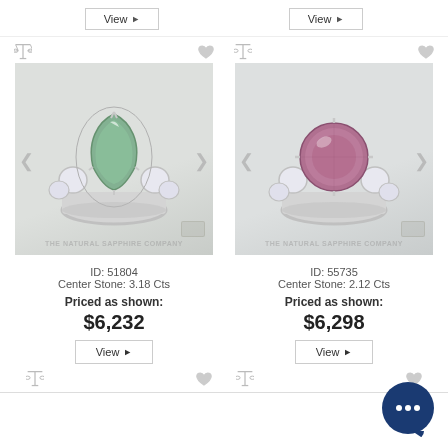[Figure (other): Top partial view - two View buttons visible from previous product row]
[Figure (photo): Ring with green pear-shaped sapphire center stone and diamond side stones, white gold setting, THE NATURAL SAPPHIRE COMPANY watermark]
ID: 51804
Center Stone: 3.18 Cts
Priced as shown:
$6,232
[Figure (photo): Ring with pink/purple round sapphire center stone and diamond side stones, white gold setting, THE NATURAL SAPPHIRE COMPANY watermark]
ID: 55735
Center Stone: 2.12 Cts
Priced as shown:
$6,298